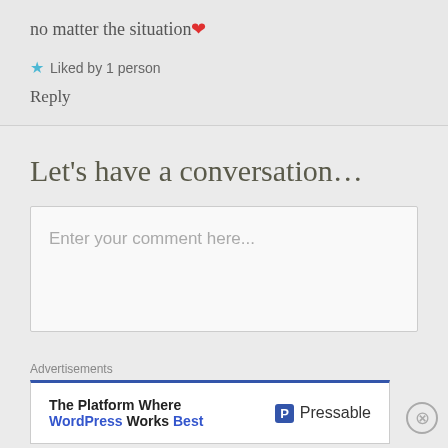no matter the situation ❤
★ Liked by 1 person
Reply
Let's have a conversation…
Enter your comment here...
Advertisements
[Figure (screenshot): Advertisement banner: 'The Platform Where WordPress Works Best' with Pressable logo]
REPORT THIS AD